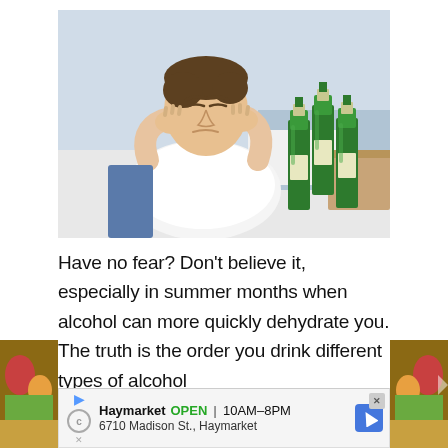[Figure (photo): A man lying on a bed holding his head in his hands with a pained expression, surrounded by green beer bottles, suggesting a hangover.]
Have no fear? Don't believe it, especially in summer months when alcohol can more quickly dehydrate you. The truth is the order you drink different types of alcohol
[Figure (photo): Left side advertisement strip showing food items with gold/orange background.]
[Figure (photo): Right side advertisement strip showing food items with gold/orange background.]
Haymarket  OPEN | 10AM–8PM
6710 Madison St., Haymarket